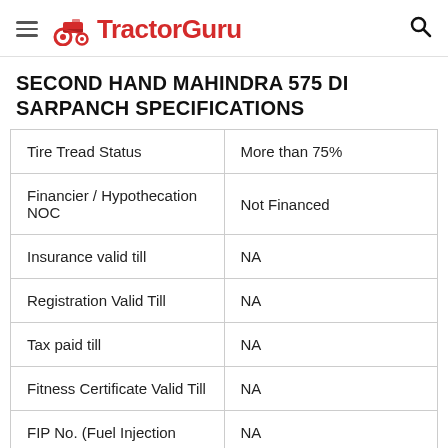TractorGuru
SECOND HAND MAHINDRA 575 DI SARPANCH SPECIFICATIONS
| Tire Tread Status | More than 75% |
| Financier / Hypothecation NOC | Not Financed |
| Insurance valid till | NA |
| Registration Valid Till | NA |
| Tax paid till | NA |
| Fitness Certificate Valid Till | NA |
| FIP No. (Fuel Injection | NA |